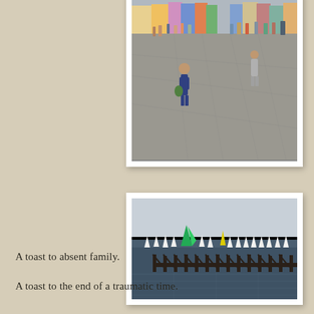[Figure (photo): A child walking on a seaside promenade carrying a green bag, with other people in the background near colorful buildings and the seafront.]
[Figure (photo): A wide view of the sea with numerous small sailing boats racing, a green-sailed and a yellow-sailed boat visible among many white-sailed boats, with a dark wooden groyne/pier structure in the foreground.]
A toast to absent family.
A toast to the end of a traumatic time.